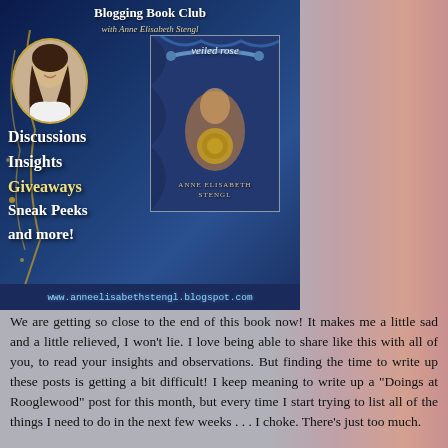[Figure (illustration): Blogging Book Club promotional banner with Anne Elisabeth Stengl. Dark blue background with gold decorative elements. Shows author photo (woman with long brown hair), book cover for 'veiled rose' by Anne Elisabeth Stengl, text listing 'Discussions Insights Giveaways Sneak Peeks and more!' and website www.anneelisabethstengl.blogspot.com at bottom.]
We are getting so close to the end of this book now! It makes me a little sad and a little relieved, I won't lie. I love being able to share like this with all of you, to read your insights and observations. But finding the time to write up these posts is getting a bit difficult! I keep meaning to write up a "Doings at Rooglewood" post for this month, but every time I start trying to list all of the things I need to do in the next few weeks . . . I choke. There's just too much.